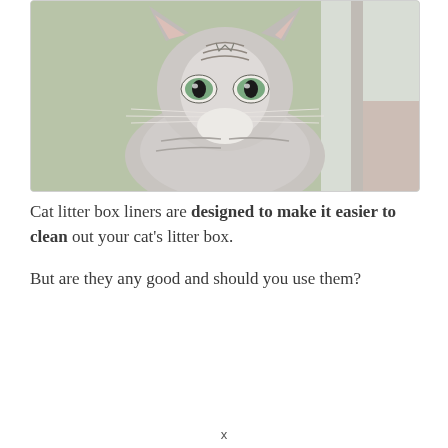[Figure (photo): Close-up photo of a tabby cat with wide green eyes, grey and white striped fur, looking directly at the camera. The cat is near a window with a blurred indoor background.]
Cat litter box liners are designed to make it easier to clean out your cat's litter box.
But are they any good and should you use them?